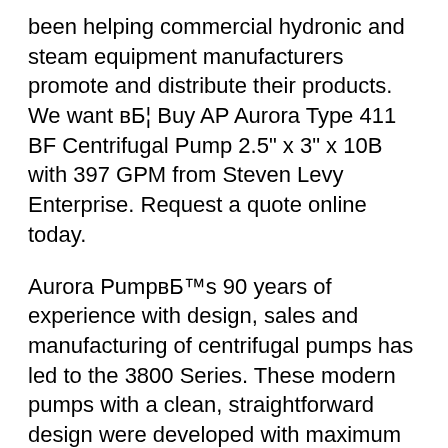…been helping commercial hydronic and steam equipment manufacturers promote and distribute their products. We want вБ¦ Buy AP Aurora Type 411 BF Centrifugal Pump 2.5" x 3" x 10B with 397 GPM from Steven Levy Enterprise. Request a quote online today.
Aurora PumpвБ™s 90 years of experience with design, sales and manufacturing of centrifugal pumps has led to the 3800 Series. These modern pumps with a clean, straightforward design were developed with maximum interchangeability in mind. AuroraвБ™s highly reliable 3800 pumps offer an economical solution to your liquid handling problems. Standard Features вБūOffered in two models: вБ" 3801 close